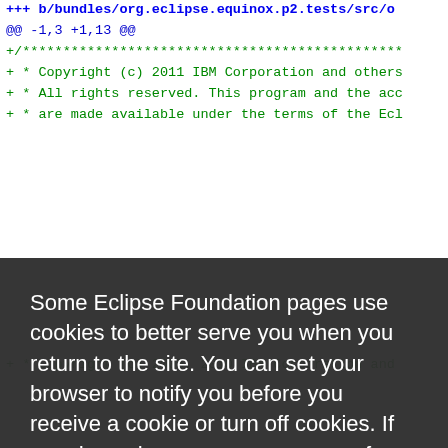+++ b/bundles/org.eclipse.equinox.p2.tests/src/o
@@ -1,3 +1,13 @@
+/***********************************************
+ * Copyright (c) 2011 IBM Corporation and others
+ * All rights reserved. This program and the acc
+ * are made available under the terms of the Ecl
and is a
.html
d impleme
********
tifact.re
.p2.tests
ts/src/or
ts/src/or
********
ation and
+ * Copyright (c) 2005, 2010 IBM Corporation and
Some Eclipse Foundation pages use cookies to better serve you when you return to the site. You can set your browser to notify you before you receive a cookie or turn off cookies. If you do so, however, some areas of some sites may not function properly. To read Eclipse Foundation Privacy Policy click here.